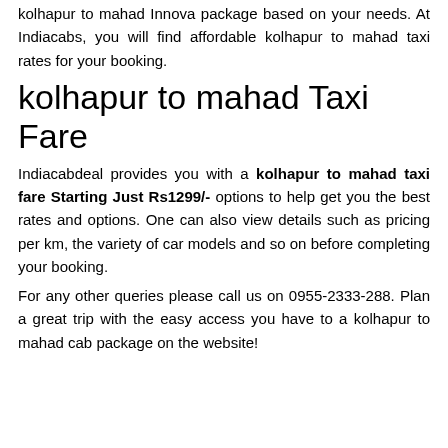kolhapur to mahad Innova package based on your needs. At Indiacabs, you will find affordable kolhapur to mahad taxi rates for your booking.
kolhapur to mahad Taxi Fare
Indiacabdeal provides you with a kolhapur to mahad taxi fare Starting Just Rs1299/- options to help get you the best rates and options. One can also view details such as pricing per km, the variety of car models and so on before completing your booking.
For any other queries please call us on 0955-2333-288. Plan a great trip with the easy access you have to a kolhapur to mahad cab package on the website!